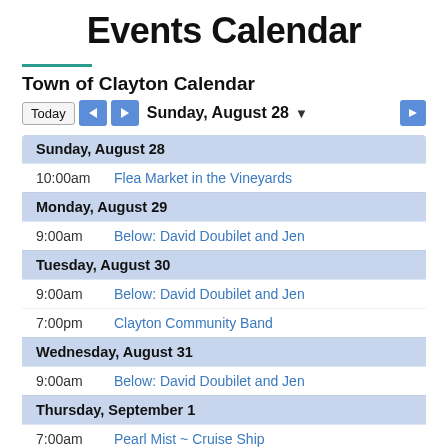Events Calendar
Town of Clayton Calendar
Today  ◄  ►  Sunday, August 28 ▼
| Time | Event |
| --- | --- |
| Sunday, August 28 |  |
| 10:00am | Flea Market in the Vineyards |
| Monday, August 29 |  |
| 9:00am | Below: David Doubilet and Jen |
| Tuesday, August 30 |  |
| 9:00am | Below: David Doubilet and Jen |
| 7:00pm | Clayton Community Band |
| Wednesday, August 31 |  |
| 9:00am | Below: David Doubilet and Jen |
| Thursday, September 1 |  |
| 7:00am | Pearl Mist ~ Cruise Ship |
| 9:00am | Below: David Doubilet and Jen |
| 10:00am | Farmers Market |
| 4:00pm | Clayton Local Development Co |
| 5:00pm | Wine Co... |